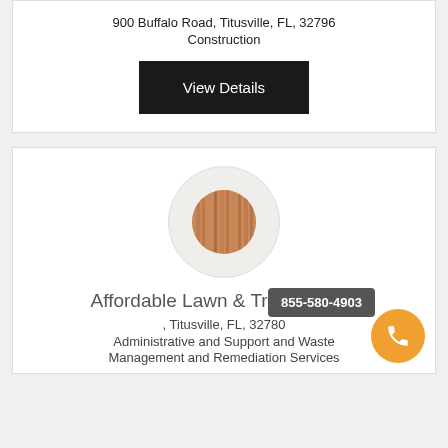900 Buffalo Road, Titusville, FL, 32796
Construction
View Details
[Figure (logo): Circular logo with vertical wood slat texture on a beige/tan background circle]
Affordable Lawn & Tree Service
, Titusville, FL, 32780
Administrative and Support and Waste Management and Remediation Services
855-580-4903